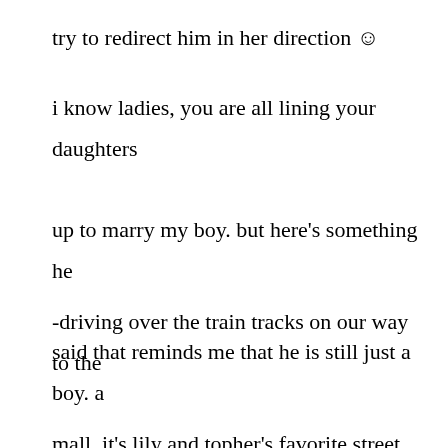try to redirect him in her direction ☺
i know ladies, you are all lining your daughters up to marry my boy. but here's something he said that reminds me that he is still just a boy. a crazy, inappropriate, crazy, boy.
-driving over the train tracks on our way to the mall. it's lily and topher's favorite street in the world because of these train tracks that happen